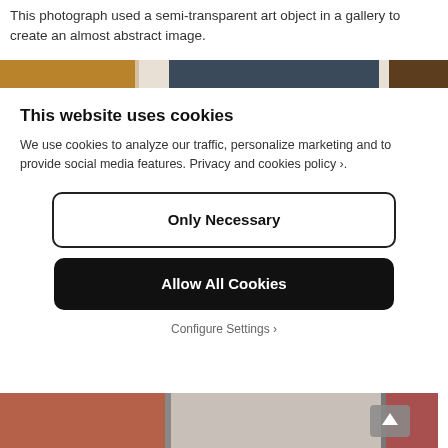This photograph used a semi-transparent art object in a gallery to create an almost abstract image.
[Figure (photo): Horizontal image strip showing a semi-transparent art object in a gallery — warm brown, white, dark blue-grey, and brown tones.]
This website uses cookies
We use cookies to analyze our traffic, personalize marketing and to provide social media features. Privacy and cookies policy ›.
Only Necessary
Allow All Cookies
Configure Settings ›
[Figure (photo): Bottom image strip showing partial figures/people in warm terracotta and muted tones.]